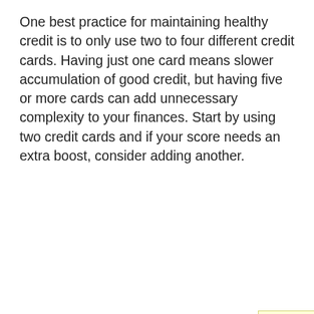One best practice for maintaining healthy credit is to only use two to four different credit cards. Having just one card means slower accumulation of good credit, but having five or more cards can add unnecessary complexity to your finances. Start by using two credit cards and if your score needs an extra boost, consider adding another.
By having a savings account that you deposit into regularly, you will be building financial stability. If you have money in savings, when emergencies arise, you will be able to pay for them without using credit or taking out a loan. You might not be able to contribute as much as you would like each month, but every little bit helps.
TIP! The two largest investments that you will make in your life are probably your home and automobile. Interest rates and payments on these two items will most likely be the bigger part of your monthly budget.
There are ways to negotiate with debt collectors. You debt